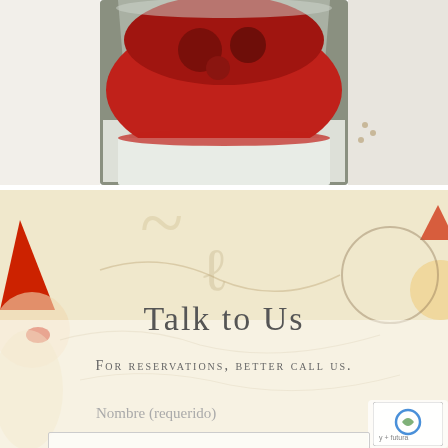[Figure (photo): Close-up photo of a glass dessert cup containing a white creamy layer topped with a thick red berry sauce and whole raspberries, on a light background.]
[Figure (photo): Decorative banner background with a beige/cream patterned design and a Pinocchio-style character with a red pointed hat and nose on the left, and another character partially visible on the right.]
Talk to Us
For reservations, better call us.
Nombre (requerido)